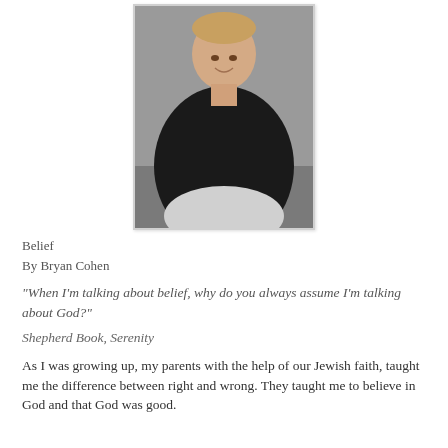[Figure (photo): Headshot photo of a young smiling man wearing a black shirt, seated, looking slightly downward toward the camera.]
Belief
By Bryan Cohen
"When I'm talking about belief, why do you always assume I'm talking about God?"
Shepherd Book, Serenity
As I was growing up, my parents with the help of our Jewish faith, taught me the difference between right and wrong. They taught me to believe in God and that God was good.